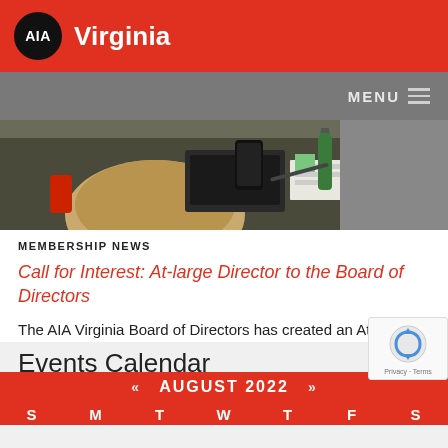AIA Virginia
[Figure (photo): Person at desk with papers, laptop, green bottle and other items, viewed from above]
MEMBERSHIP NEWS
Call for Interest: At-large Director to the Board of Directors
The AIA Virginia Board of Directors has created an At-large Director position and seeks applicants to serve in this leadership role.
Events Calendar
| S | M | T | W | T | F | S |
| --- | --- | --- | --- | --- | --- | --- |